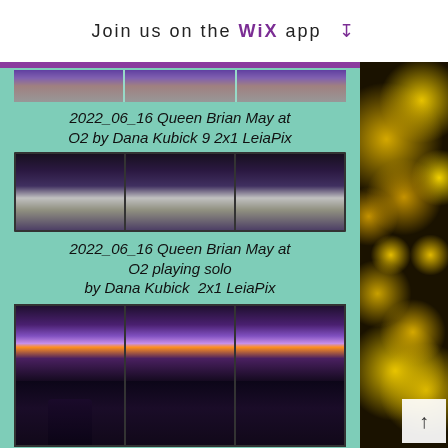Join us on the WiX app ↓
[Figure (photo): Concert crowd photo strip showing multiple repeated frames of a crowded venue with stage lights]
2022_06_16 Queen Brian May at O2 by Dana Kubick 9 2x1 LeiaPix
[Figure (photo): Concert photo showing crowd with phone lights / sparks in a darkened arena]
2022_06_16 Queen Brian May at O2 playing solo by Dana Kubick  2x1 LeiaPix
[Figure (photo): Three repeated frames of Brian May performing solo on stage with dramatic lighting and fog effects]
2022_06_16 Queen Brian May at O2 by Dana Kubick 3 2x1 LeiaPix
[Figure (photo): Partial view of concert photo strip showing performer against red stage background]